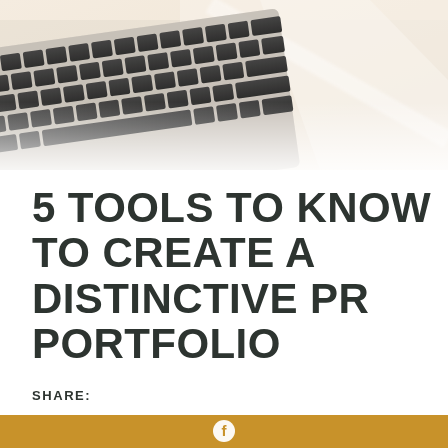[Figure (photo): Close-up photo of a laptop keyboard on a light beige/cream background, viewed from an angle. The keyboard keys are dark/black against a silver laptop body. A white surface is visible in the background.]
5 TOOLS TO KNOW TO CREATE A DISTINCTIVE PR PORTFOLIO
SHARE:
[Figure (other): A tan/golden brown horizontal bar with a Facebook icon (circle with 'f') centered on it, serving as a social sharing button.]